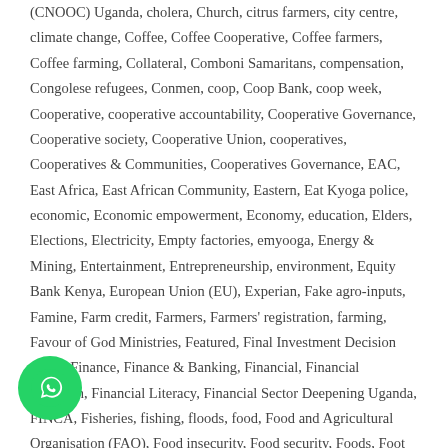(CNOOC) Uganda, cholera, Church, citrus farmers, city centre, climate change, Coffee, Coffee Cooperative, Coffee farmers, Coffee farming, Collateral, Comboni Samaritans, compensation, Congolese refugees, Conmen, coop, Coop Bank, coop week, Cooperative, cooperative accountability, Cooperative Governance, Cooperative society, Cooperative Union, cooperatives, Cooperatives & Communities, Cooperatives Governance, EAC, East Africa, East African Community, Eastern, Eat Kyoga police, economic, Economic empowerment, Economy, education, Elders, Elections, Electricity, Empty factories, emyooga, Energy & Mining, Entertainment, Entrepreneurship, environment, Equity Bank Kenya, European Union (EU), Experian, Fake agro-inputs, Famine, Farm credit, Farmers, Farmers' registration, farming, Favour of God Ministries, Featured, Final Investment Decision (FID), Finance, Finance & Banking, Financial, Financial Inclusion, Financial Literacy, Financial Sector Deepening Uganda, FINCA, Fisheries, fishing, floods, food, Food and Agricultural Organisation (FAO), Food insecurity, Food security, Foods, Foot and Mouth Disease, Fraud, Frontpage Article, Fruit factory, Fusarium Wilt, Gambia, Gates Foundation, Giel Child education, global, government,
[Figure (other): WhatsApp contact button (green circle with white phone handset icon)]